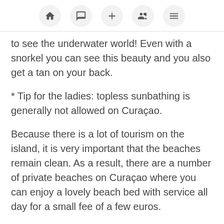[navigation icons: home, message, plus, people, menu]
to see the underwater world! Even with a snorkel you can see this beauty and you also get a tan on your back.
* Tip for the ladies: topless sunbathing is generally not allowed on Curaçao.
Because there is a lot of tourism on the island, it is very important that the beaches remain clean. As a result, there are a number of private beaches on Curaçao where you can enjoy a lovely beach bed with service all day for a small fee of a few euros.